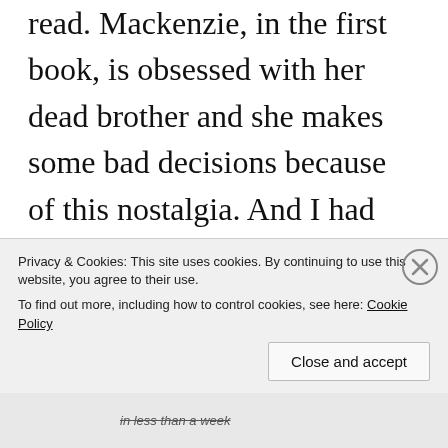read. Mackenzie, in the first book, is obsessed with her dead brother and she makes some bad decisions because of this nostalgia. And I had hoped that Mackenzie's character would finally become a force to be reckoned with in this second book. But she doesn't, instead she's
Privacy & Cookies: This site uses cookies. By continuing to use this website, you agree to their use.
To find out more, including how to control cookies, see here: Cookie Policy
in less than a week